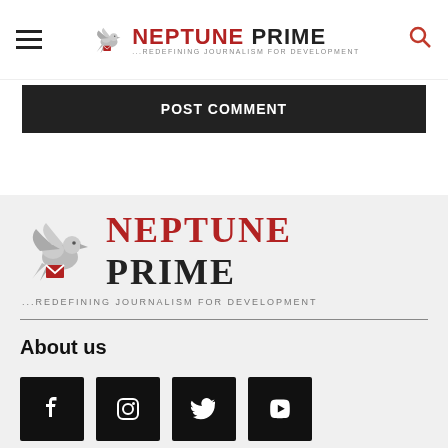Neptune Prime — ...Redefining Journalism for Development
POST COMMENT
[Figure (logo): Neptune Prime logo with dove illustration and tagline '...REDEFINING JOURNALISM FOR DEVELOPMENT']
About us
[Figure (infographic): Social media icons: Facebook, Instagram, Twitter, YouTube]